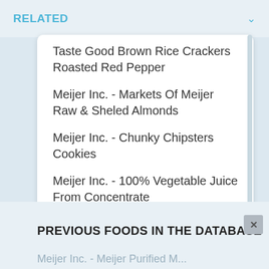RELATED
Taste Good Brown Rice Crackers Roasted Red Pepper
Meijer Inc. - Markets Of Meijer Raw & Sheled Almonds
Meijer Inc. - Chunky Chipsters Cookies
Meijer Inc. - 100% Vegetable Juice From Concentrate
PREVIOUS FOODS IN THE DATABASE